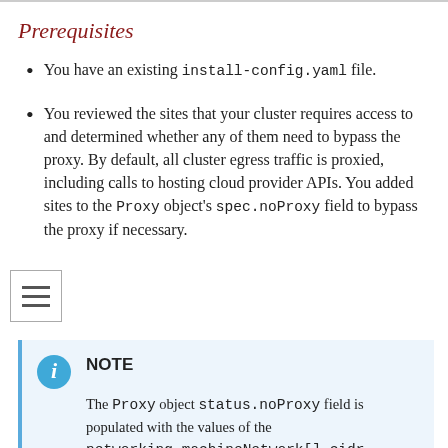Prerequisites
You have an existing install-config.yaml file.
You reviewed the sites that your cluster requires access to and determined whether any of them need to bypass the proxy. By default, all cluster egress traffic is proxied, including calls to hosting cloud provider APIs. You added sites to the Proxy object's spec.noProxy field to bypass the proxy if necessary.
NOTE
The Proxy object status.noProxy field is populated with the values of the networking.machineNetwork[].cidr, networking.clusterNetwork[].cidr, and networking.serviceNetwork[]